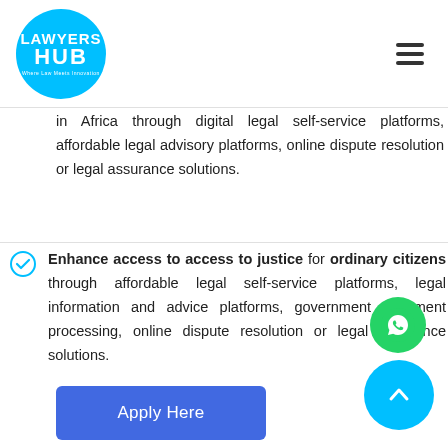[Figure (logo): Lawyers Hub logo - blue circle with white text LAWYERS HUB]
in Africa through digital legal self-service platforms, affordable legal advisory platforms, online dispute resolution or legal assurance solutions.
Enhance access to access to justice for ordinary citizens through affordable legal self-service platforms, legal information and advice platforms, government document processing, online dispute resolution or legal assurance solutions.
[Figure (other): Apply Here button - blue rectangular button]
[Figure (other): WhatsApp floating button - green circle with WhatsApp icon]
[Figure (other): Scroll to top button - blue circle with up arrow]